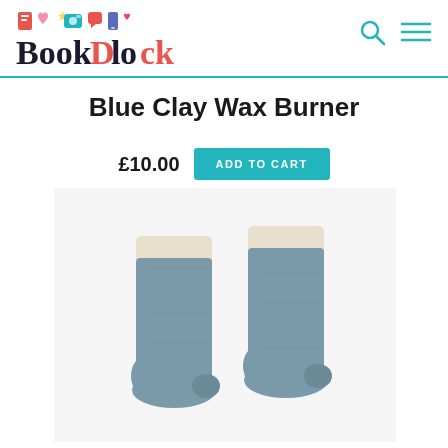BookBlock
Blue Clay Wax Burner
£10.00  ADD TO CART
[Figure (photo): Two blue-grey cosy socks with cream fleece cuffs, laid flat on a white background]